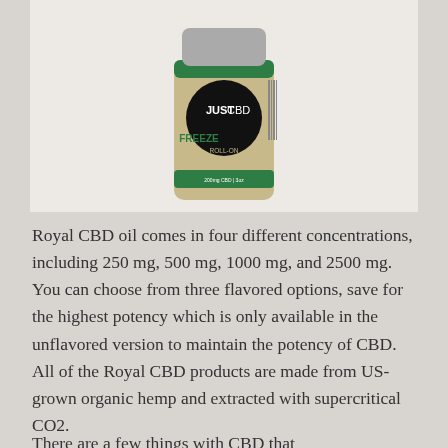[Figure (photo): JustCBD Freeze Roll-On Pain Relief product bottle with green label and black circular logo]
Royal CBD oil comes in four different concentrations, including 250 mg, 500 mg, 1000 mg, and 2500 mg. You can choose from three flavored options, save for the highest potency which is only available in the unflavored version to maintain the potency of CBD. All of the Royal CBD products are made from US-grown organic hemp and extracted with supercritical CO2.
There are a few things with CBD that...